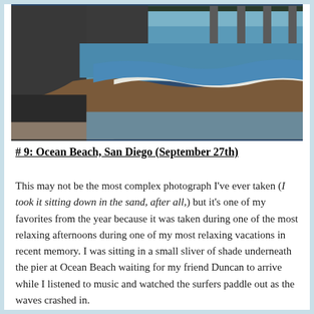[Figure (photo): Beach scene showing ocean waves crashing near a pier, with pier pillars visible on the right and brown churned water meeting blue ocean waves. Photo taken from low angle in the sand.]
# 9: Ocean Beach, San Diego (September 27th)
This may not be the most complex photograph I've ever taken (I took it sitting down in the sand, after all,) but it's one of my favorites from the year because it was taken during one of the most relaxing afternoons during one of my most relaxing vacations in recent memory. I was sitting in a small sliver of shade underneath the pier at Ocean Beach waiting for my friend Duncan to arrive while I listened to music and watched the surfers paddle out as the waves crashed in.